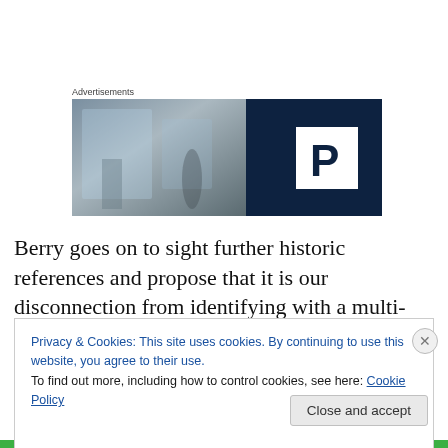Advertisements
[Figure (photo): Advertisement banner image split into two halves: left shows a blurry indoor/window scene, right shows a dark navy background with a white box containing the letter P (parking logo).]
Berry goes on to sight further historic references and propose that it is our disconnection from identifying with a multi-generational history and a detachment to our physical land that leads us to consume without question and thus builds over generations a willingness toward
Privacy & Cookies: This site uses cookies. By continuing to use this website, you agree to their use.
To find out more, including how to control cookies, see here: Cookie Policy
Close and accept